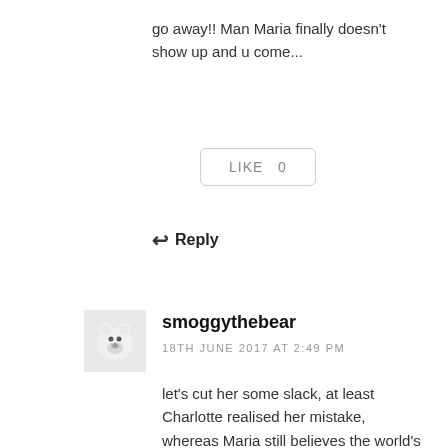go away!! Man Maria finally doesn't show up and u come...
[Figure (other): Like button with count 0]
↩ Reply
[Figure (photo): Avatar image of a polar bear]
smoggythebear
18TH JUNE 2017 AT 2:49 PM
let's cut her some slack, at least Charlotte realised her mistake, whereas Maria still believes the world's a board and the people chess pieces.

Thanks for the chapter 🙂